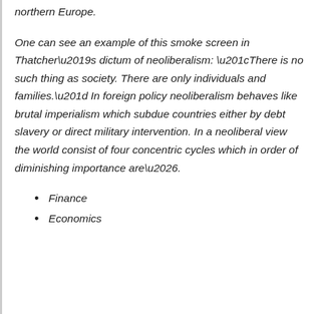northern Europe.
One can see an example of this smoke screen in Thatcher’s dictum of neoliberalism: “There is no such thing as society. There are only individuals and families.” In foreign policy neoliberalism behaves like brutal imperialism which subdue countries either by debt slavery or direct military intervention. In a neoliberal view the world consist of four concentric cycles which in order of diminishing importance are….
Finance
Economics